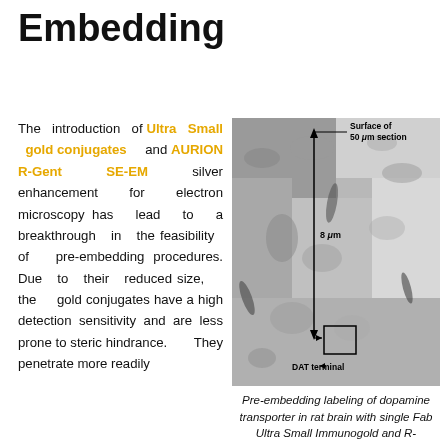Embedding
The introduction of Ultra Small gold conjugates and AURION R-Gent SE-EM silver enhancement for electron microscopy has lead to a breakthrough in the feasibility of pre-embedding procedures. Due to their reduced size, the gold conjugates have a high detection sensitivity and are less prone to steric hindrance. They penetrate more readily
[Figure (photo): Electron microscopy image showing pre-embedding labeling of dopamine transporter in rat brain. The image shows a cross-section with annotations indicating 'Surface of 50 μm section' at the top, '8 μm' measurement in the middle, and 'DAT terminal' at the bottom with a boxed region.]
Pre-embedding labeling of dopamine transporter in rat brain with single Fab Ultra Small Immunogold and R-